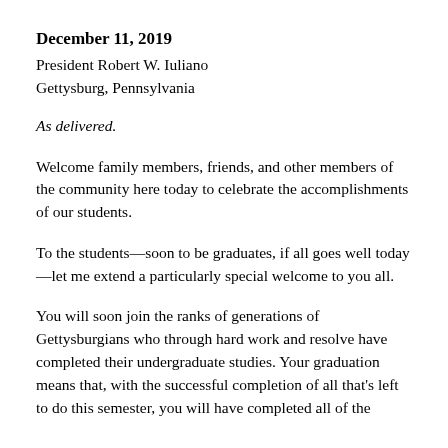December 11, 2019
President Robert W. Iuliano
Gettysburg, Pennsylvania
As delivered.
Welcome family members, friends, and other members of the community here today to celebrate the accomplishments of our students.
To the students—soon to be graduates, if all goes well today—let me extend a particularly special welcome to you all.
You will soon join the ranks of generations of Gettysburgians who through hard work and resolve have completed their undergraduate studies. Your graduation means that, with the successful completion of all that's left to do this semester, you will have completed all of the